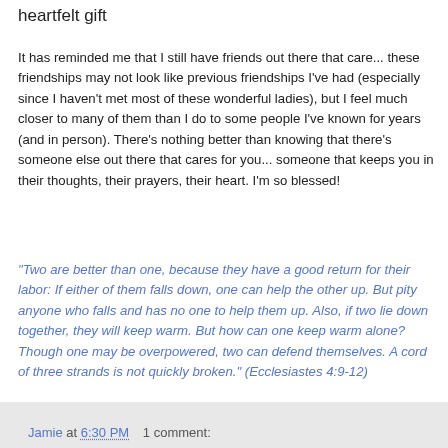heartfelt gift
It has reminded me that I still have friends out there that care... these friendships may not look like previous friendships I've had (especially since I haven't met most of these wonderful ladies), but I feel much closer to many of them than I do to some people I've known for years (and in person). There's nothing better than knowing that there's someone else out there that cares for you... someone that keeps you in their thoughts, their prayers, their heart. I'm so blessed!
"Two are better than one, because they have a good return for their labor: If either of them falls down, one can help the other up. But pity anyone who falls and has no one to help them up. Also, if two lie down together, they will keep warm. But how can one keep warm alone? Though one may be overpowered, two can defend themselves. A cord of three strands is not quickly broken." (Ecclesiastes 4:9-12)
Jamie at 6:30 PM    1 comment: